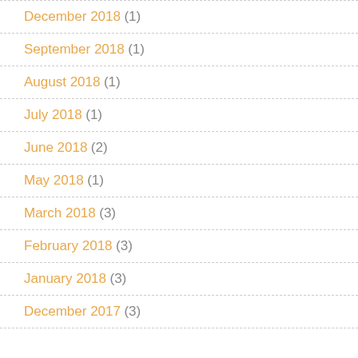December 2018 (1)
September 2018 (1)
August 2018 (1)
July 2018 (1)
June 2018 (2)
May 2018 (1)
March 2018 (3)
February 2018 (3)
January 2018 (3)
December 2017 (3)